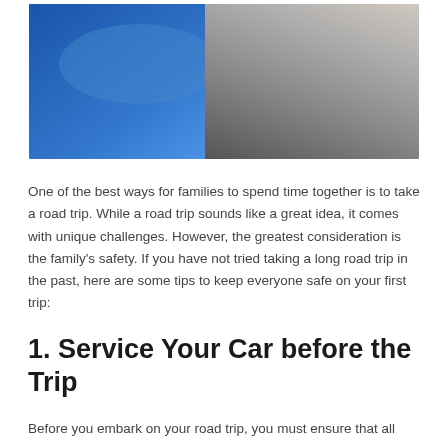[Figure (photo): Person sitting on a car door sill, legs dangling, wearing sneakers. Blue car door visible on left, asphalt ground on right.]
One of the best ways for families to spend time together is to take a road trip. While a road trip sounds like a great idea, it comes with unique challenges. However, the greatest consideration is the family's safety. If you have not tried taking a long road trip in the past, here are some tips to keep everyone safe on your first trip:
1. Service Your Car before the Trip
Before you embark on your road trip, you must ensure that all